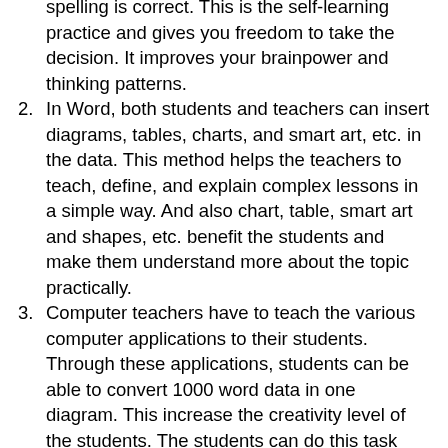(continued) spelling is correct. This is the self-learning practice and gives you freedom to take the decision. It improves your brainpower and thinking patterns.
2. In Word, both students and teachers can insert diagrams, tables, charts, and smart art, etc. in the data. This method helps the teachers to teach, define, and explain complex lessons in a simple way. And also chart, table, smart art and shapes, etc. benefit the students and make them understand more about the topic practically.
3. Computer teachers have to teach the various computer applications to their students. Through these applications, students can be able to convert 1000 word data in one diagram. This increase the creativity level of the students. The students can do this task easily, with the help of Microsoft Word in the classroom.
4. As you all know that the world is facing so many problems. So, intelligent peoples are required in all the Govt. Departments, parliament, business, and workforce, etc. Intelligence means, the person have the capacity